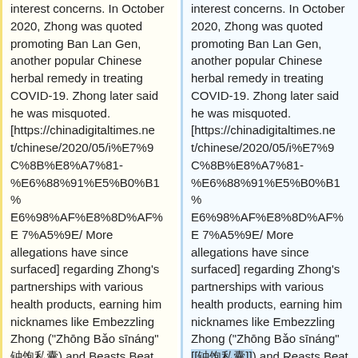interest concerns. In October 2020, Zhong was quoted promoting Ban Lan Gen, another popular Chinese herbal remedy in treating COVID-19. Zhong later said he was misquoted. [https://chinadigitaltimes.net/chinese/2020/05/i%E7%9C%8B%E8%A7%81-%E6%88%91%E5%B0%B1%E6%98%AF%E8%8D%AF%E7%A5%9E/ More allegations have since surfaced] regarding Zhong's partnerships with various health products, earning him nicknames like Embezzling Zhong ("Zhōng Bǎo sīnáng" 钟饱私囊) and Beasts Beat Nanshan ("Shèu...
interest concerns. In October 2020, Zhong was quoted promoting Ban Lan Gen, another popular Chinese herbal remedy in treating COVID-19. Zhong later said he was misquoted. [https://chinadigitaltimes.net/chinese/2020/05/i%E7%9C%8B%E8%A7%81-%E6%88%91%E5%B0%B1%E6%98%AF%E8%8D%AF%E7%A5%9E/ More allegations have since surfaced] regarding Zhong's partnerships with various health products, earning him nicknames like Embezzling Zhong ("Zhōng Bǎo sīnáng" [[钟饱私囊]]) and Reasts Beat Nanshan...